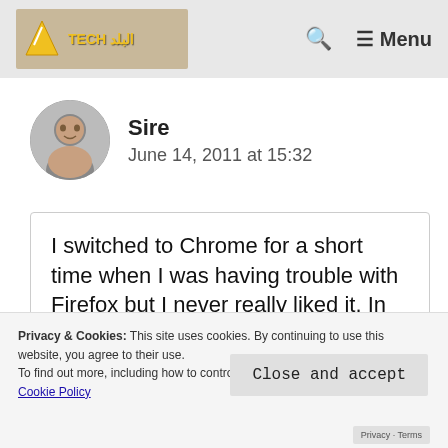Tech Blog — Menu
Sire
June 14, 2011 at 15:32
I switched to Chrome for a short time when I was having trouble with Firefox but I never really liked it. In those days it didn't have many
Privacy & Cookies: This site uses cookies. By continuing to use this website, you agree to their use.
To find out more, including how to control cookies, see here:
Cookie Policy
Close and accept
As to those who insist on using Chrome, I suppose they will have to